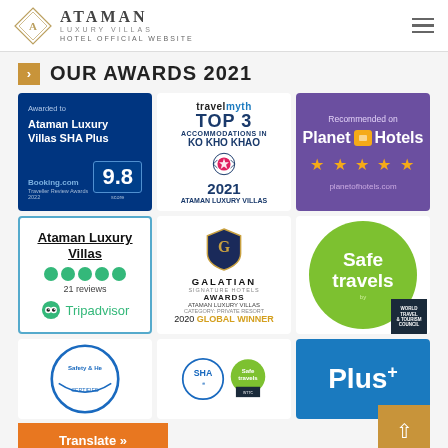ATAMAN LUXURY VILLAS - HOTEL OFFICIAL WEBSITE
OUR AWARDS 2021
[Figure (infographic): Booking.com award certificate - Awarded to Ataman Luxury Villas SHA Plus, score 9.8, Traveller Review Awards 2022]
[Figure (infographic): Travelmyth TOP 3 Accommodations in Ko Kho Khao 2021 - Ataman Luxury Villas]
[Figure (infographic): Recommended on Planet Hotels - 5 stars - planetofhotels.com]
[Figure (infographic): Ataman Luxury Villas - Tripadvisor - 5 bubbles - 21 reviews]
[Figure (infographic): Galatian Signature Hotels Awards - Ataman Luxury Villas - Category: Private Resort - 2020 Global Winner]
[Figure (infographic): Safe Travels by World Travel & Tourism Council]
[Figure (infographic): Safety & Health certificate badge]
[Figure (infographic): SHA Safe Travels badge and Safe Travels logo]
[Figure (infographic): SHA Plus blue banner]